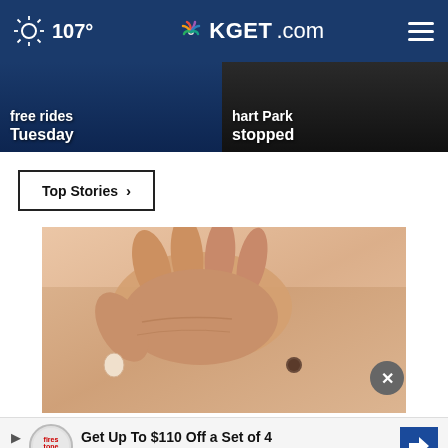107° KGET.com
[Figure (screenshot): Two cropped news story banner images side by side: left shows 'free rides Tuesday' on dark blue background, right shows 'hart Park stopped' on dark background]
Top Stories ›
[Figure (photo): Close-up photo of a hand examining a mole/skin spot on a person's torso]
Get Up To $110 Off a Set of 4 Select Firestone Tires
Ad by Plaque Psoriasis Treatment | S